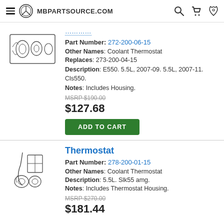MBPARTSOURCE.COM
[Figure (illustration): Line drawing of thermostat part components]
Part Number: 272-200-06-15
Other Names: Coolant Thermostat
Replaces: 273-200-04-15
Description: E550. 5.5L, 2007-09. 5.5L, 2007-11. Cls550.
Notes: Includes Housing.
MSRP $190.00
$127.68
ADD TO CART
Thermostat
[Figure (illustration): Line drawing of thermostat part with housing components]
Part Number: 278-200-01-15
Other Names: Coolant Thermostat
Description: 5.5L. Slk55 amg.
Notes: Includes Thermostat Housing.
MSRP $270.00
$181.44